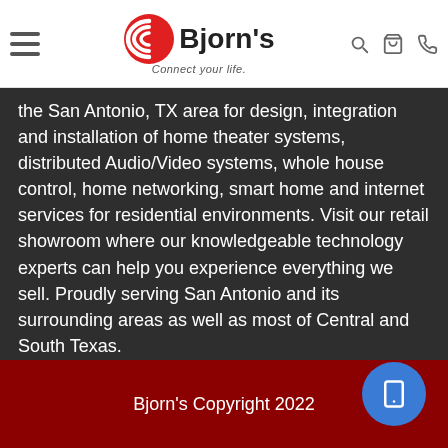Bjorn's — Connect your life.
the San Antonio, TX area for design, integration and installation of home theater systems, distributed Audio/Video systems, whole house control, home networking, smart home and internet services for residential environments. Visit our retail showroom where our knowledgeable technology experts can help you experience everything we sell. Proudly serving San Antonio and its surrounding areas as well as most of Central and South Texas.
Bjorn's Copyright 2022